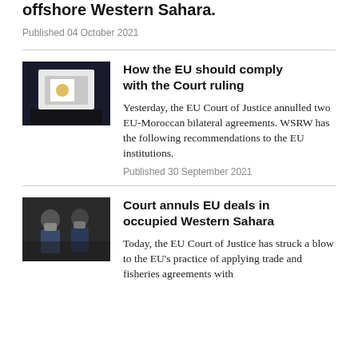offshore Western Sahara.
Published 04 October 2021
How the EU should comply with the Court ruling
Yesterday, the EU Court of Justice annulled two EU-Moroccan bilateral agreements. WSRW has the following recommendations to the EU institutions.
Published 30 September 2021
Court annuls EU deals in occupied Western Sahara
Today, the EU Court of Justice has struck a blow to the EU's practice of applying trade and fisheries agreements with